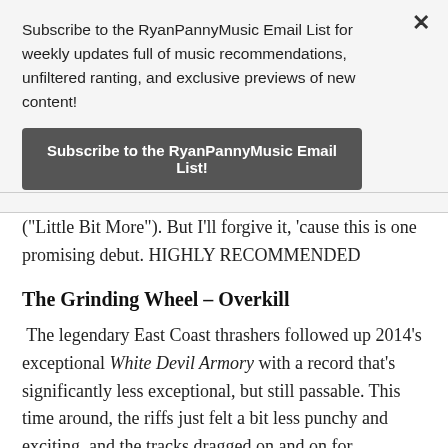Subscribe to the RyanPannyMusic Email List for weekly updates full of music recommendations, unfiltered ranting, and exclusive previews of new content!
Subscribe to the RyanPannyMusic Email List!
("Little Bit More"). But I'll forgive it, 'cause this is one promising debut. HIGHLY RECOMMENDED
The Grinding Wheel – Overkill
The legendary East Coast thrashers followed up 2014's exceptional White Devil Armory with a record that's significantly less exceptional, but still passable. This time around, the riffs just felt a bit less punchy and exciting, and the tracks dragged on and on for unnecessary lengths (similar to my gripe with the pre-Metallica album...)